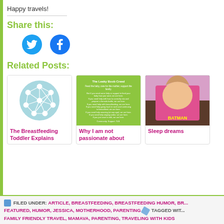Happy travels!
Share this:
[Figure (infographic): Twitter and Facebook social share buttons (blue circles with icons)]
Related Posts:
[Figure (illustration): Related post card: The Breastfeeding Toddler Explains - network diagram on blue circle]
[Figure (illustration): Related post card: Why I am not passionate about - green text card]
[Figure (photo): Related post card: Sleep dreams - photo of child]
The Breastfeeding Toddler Explains
Why I am not passionate about
Sleep dreams
FILED UNDER: ARTICLE, BREASTFEEDING, BREASTFEEDING HUMOR, BR... FEATURED, HUMOR, JESSICA, MOTHERHOOD, PARENTING  TAGGED WIT... FAMILY FRIENDLY TRAVEL, MAMAVA, PARENTING, TRAVELING WITH KIDS